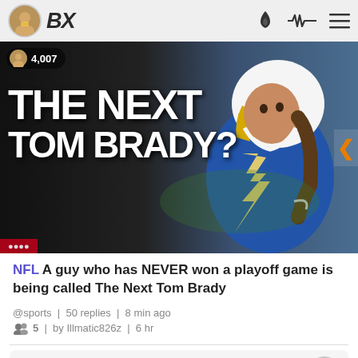BX | 4,007
[Figure (photo): NFL article hero image showing a football player in LA Chargers white and yellow helmet and blue jersey, with bold white text overlay reading 'THE NEXT TOM BRADY?' on dark background]
NFL A guy who has NEVER won a playoff game is being called The Next Tom Brady
@sports | 50 replies | 8 min ago
5 | by Illmatic826z | 6 hr
most viewed right now